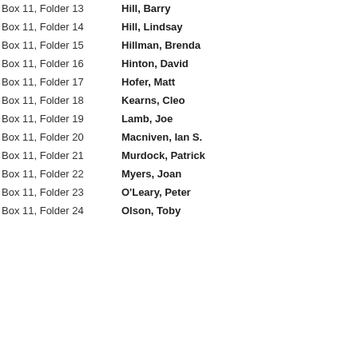Box 11, Folder 13    Hill, Barry
Box 11, Folder 14    Hill, Lindsay
Box 11, Folder 15    Hillman, Brenda
Box 11, Folder 16    Hinton, David
Box 11, Folder 17    Hofer, Matt
Box 11, Folder 18    Kearns, Cleo
Box 11, Folder 19    Lamb, Joe
Box 11, Folder 20    Macniven, Ian S.
Box 11, Folder 21    Murdock, Patrick
Box 11, Folder 22    Myers, Joan
Box 11, Folder 23    O'Leary, Peter
Box 11, Folder 24    Olson, Toby